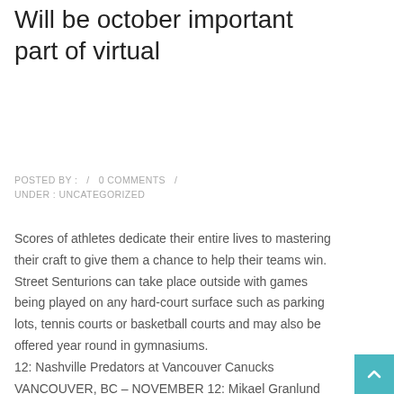Will be october important part of virtual
POSTED BY :  /  0 COMMENTS  /  UNDER : UNCATEGORIZED
Scores of athletes dedicate their entire lives to mastering their craft to give them a chance to help their teams win. Street Senturions can take place outside with games being played on any hard-court surface such as parking lots, tennis courts or basketball courts and may also be offered year round in gymnasiums. 12: Nashville Predators at Vancouver Canucks VANCOUVER, BC – NOVEMBER 12: Mikael Granlund #64 of the Nashville Predators skates